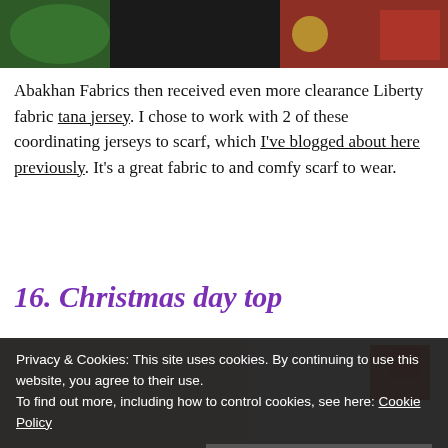[Figure (photo): Top portion of a photo showing Christmas-themed items including greenery, a reindeer brooch/pin, and colorful fabric/scarf]
Abakhan Fabrics then received even more clearance Liberty fabric tana jersey. I chose to work with 2 of these coordinating jerseys to scarf, which I've blogged about here previously. It's a great fabric to and comfy scarf to wear.
16. Christmas day top
[Figure (photo): Partial photo showing a person wearing Christmas accessories including a red butterfly/flower decoration]
Privacy & Cookies: This site uses cookies. By continuing to use this website, you agree to their use.
To find out more, including how to control cookies, see here: Cookie Policy
Close and accept